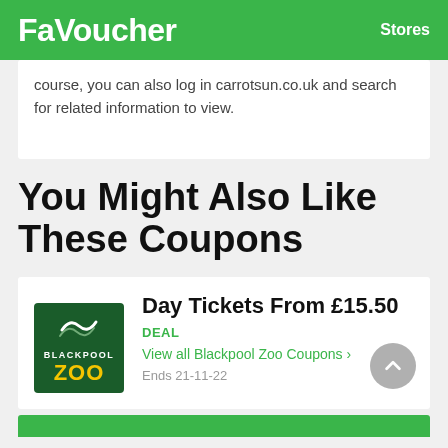FaVoucher   Stores
course, you can also log in carrotsun.co.uk and search for related information to view.
You Might Also Like These Coupons
Day Tickets From £15.50
DEAL
View all Blackpool Zoo Coupons >
Ends 21-11-22